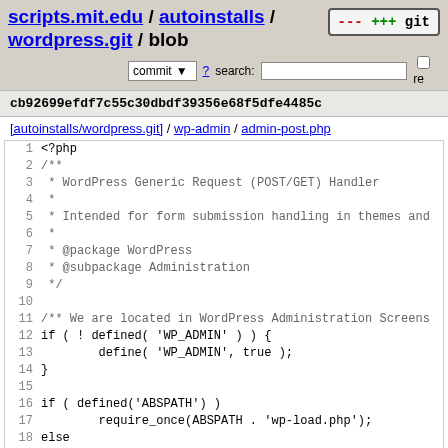scripts.mit.edu / autoinstalls / wordpress.git / blob
cb92699efdf7c55c30dbdf39356e68f5dfe4485c
[autoinstalls/wordpress.git] / wp-admin / admin-post.php
[Figure (screenshot): Code viewer showing PHP source of admin-post.php lines 1-21]